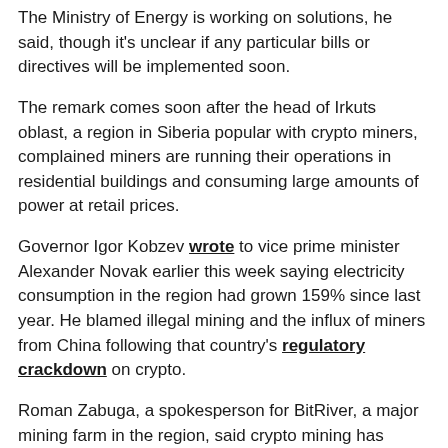The Ministry of Energy is working on solutions, he said, though it's unclear if any particular bills or directives will be implemented soon.
The remark comes soon after the head of Irkuts oblast, a region in Siberia popular with crypto miners, complained miners are running their operations in residential buildings and consuming large amounts of power at retail prices.
Governor Igor Kobzev wrote to vice prime minister Alexander Novak earlier this week saying electricity consumption in the region had grown 159% since last year. He blamed illegal mining and the influx of miners from China following that country's regulatory crackdown on crypto.
Roman Zabuga, a spokesperson for BitRiver, a major mining farm in the region, said crypto mining has flourished, alongside the growing bitcoin price. However, rather than Chinese, growth is coming from locals expanding existing mining operations or starting new ones.
"These miners are, in fact, using electricity for households, on the price that is subsidized by the regional government, for business purposes," he said, adding that special tariffs for miners might be introduced in the future.